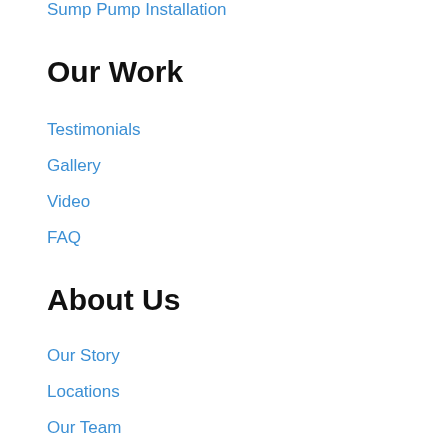Sump Pump Installation
Our Work
Testimonials
Gallery
Video
FAQ
About Us
Our Story
Locations
Our Team
Helpful Info